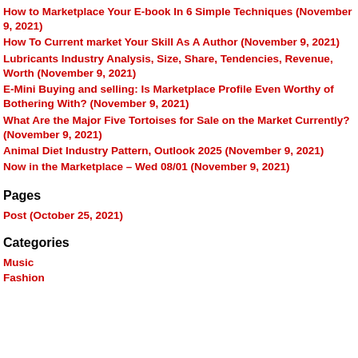How to Marketplace Your E-book In 6 Simple Techniques (November 9, 2021)
How To Current market Your Skill As A Author (November 9, 2021)
Lubricants Industry Analysis, Size, Share, Tendencies, Revenue, Worth (November 9, 2021)
E-Mini Buying and selling: Is Marketplace Profile Even Worthy of Bothering With? (November 9, 2021)
What Are the Major Five Tortoises for Sale on the Market Currently? (November 9, 2021)
Animal Diet Industry Pattern, Outlook 2025 (November 9, 2021)
Now in the Marketplace – Wed 08/01 (November 9, 2021)
Pages
Post (October 25, 2021)
Categories
Music
Fashion